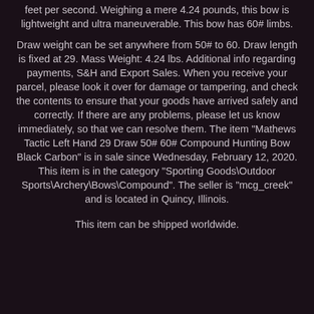feet per second. Weighing a mere 4.24 pounds, this bow is lightweight and ultra maneuverable. This bow has 60# limbs.
Draw weight can be set anywhere from 50# to 60. Draw length is fixed at 29. Mass Weight: 4.24 lbs. Additional info regarding payments, S&H and Export Sales. When you receive your parcel, please look it over for damage or tampering, and check the contents to ensure that your goods have arrived safely and correctly. If there are any problems, please let us know immediately, so that we can resolve them. The item "Mathews Tactic Left Hand 29 Draw 50# 60# Compound Hunting Bow Black Carbon" is in sale since Wednesday, February 12, 2020. This item is in the category "Sporting Goods\Outdoor Sports\Archery\Bows\Compound". The seller is "mcg_creek" and is located in Quincy, Illinois.
This item can be shipped worldwide.